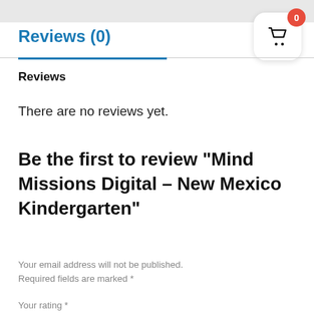Reviews (0)
Reviews
There are no reviews yet.
Be the first to review “Mind Missions Digital – New Mexico Kindergarten”
Your email address will not be published. Required fields are marked *
Your rating *